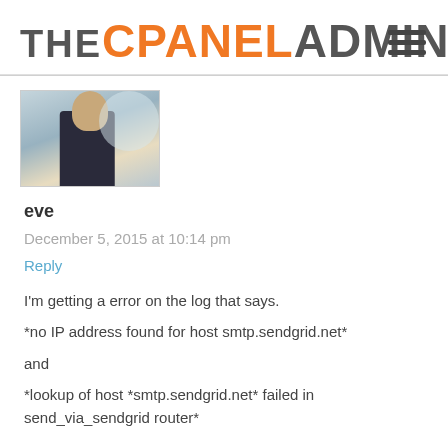THE CPANEL ADMIN
[Figure (photo): Avatar photo of commenter eve — person in dark shirt with blurred background]
eve
December 5, 2015 at 10:14 pm
Reply
I'm getting a error on the log that says.
*no IP address found for host smtp.sendgrid.net*
and
*lookup of host *smtp.sendgrid.net* failed in send_via_sendgrid router*

I guess is for the SPF records, am I right?